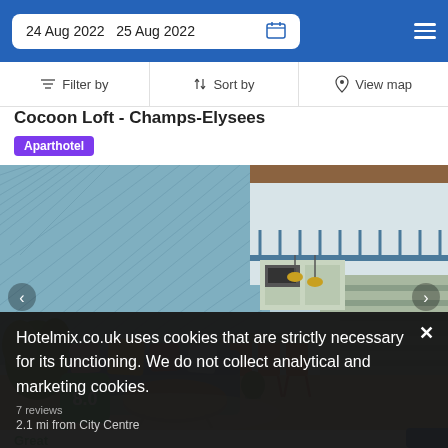24 Aug 2022  25 Aug 2022
Filter by  Sort by  View map
Cocoon Loft - Champs-Elysees
Aparthotel
[Figure (photo): Interior of Cocoon Loft Champs-Elysees aparthotel showing a blue sofa, colourful cushions, coffee table, orange bar stools at a kitchen counter, and a loft-level mezzanine with railing. Patterned blue-green feature wall. Score badge showing 8.0 in green.]
Great
7 reviews
Hotelmix.co.uk uses cookies that are strictly necessary for its functioning. We do not collect analytical and marketing cookies.
2.1 mi from City Centre